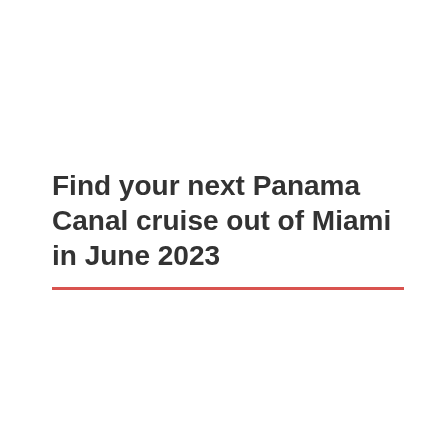Find your next Panama Canal cruise out of Miami in June 2023